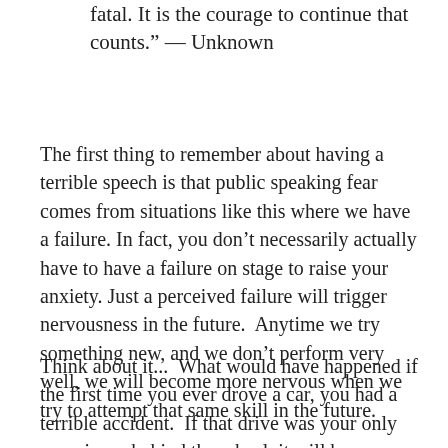fatal. It is the courage to continue that counts." — Unknown
The first thing to remember about having a terrible speech is that public speaking fear comes from situations like this where we have a failure. In fact, you don't necessarily actually have to have a failure on stage to raise your anxiety. Just a perceived failure will trigger nervousness in the future.  Anytime we try something new, and we don't perform very well, we will become more nervous when we try to attempt that same skill in the future.
Think about it...  What would have happened if the first time you ever drove a car, you had a terrible accident.  If that drive was your only experience behind the wheel, it will be nerve-racking to get back into the driver's seat.  If the first time you ever used a